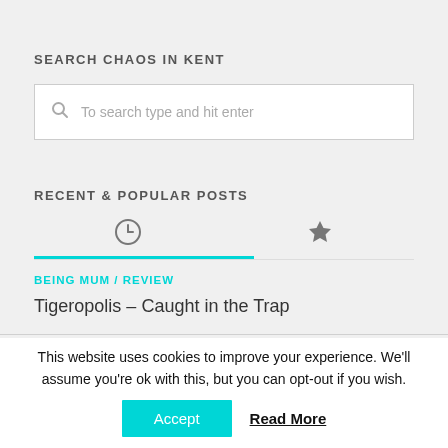SEARCH CHAOS IN KENT
[Figure (screenshot): Search input box with placeholder text 'To search type and hit enter' and a search icon]
RECENT & POPULAR POSTS
[Figure (other): Tab icons row with a clock icon and a star icon, with a cyan underline under the left (clock) tab]
BEING MUM / REVIEW
Tigeropolis – Caught in the Trap
This website uses cookies to improve your experience. We'll assume you're ok with this, but you can opt-out if you wish.
Accept   Read More